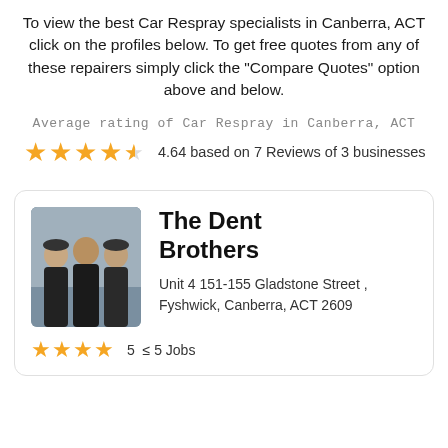To view the best Car Respray specialists in Canberra, ACT click on the profiles below. To get free quotes from any of these repairers simply click the "Compare Quotes" option above and below.
Average rating of Car Respray in Canberra, ACT
4.64 based on 7 Reviews of 3 businesses
[Figure (photo): Photo of three men in black jackets standing together, representing The Dent Brothers business]
The Dent Brothers
Unit 4 151-155 Gladstone Street , Fyshwick, Canberra, ACT 2609
5 ≤ 5 Jobs